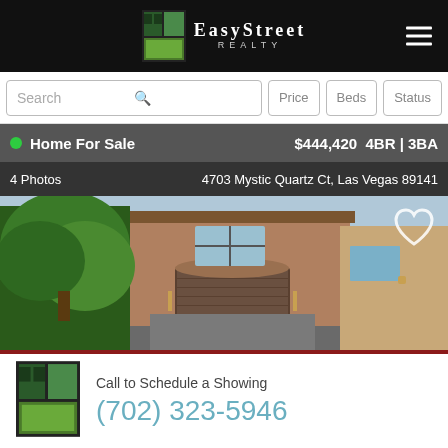EasyStreet Realty
Search | Price | Beds | Status
Home For Sale   $444,420   4BR | 3BA
4 Photos   4703 Mystic Quartz Ct, Las Vegas 89141
[Figure (photo): Exterior photo of a two-story stucco home with a two-car garage, tile roof, and large trees in front, located at 4703 Mystic Quartz Ct, Las Vegas 89141]
Call to Schedule a Showing
(702) 323-5946